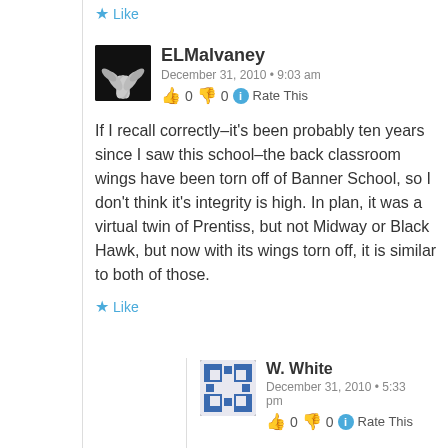Like
ELMalvaney
December 31, 2010 • 9:03 am
👍 0 👎 0 ℹ Rate This
If I recall correctly–it's been probably ten years since I saw this school–the back classroom wings have been torn off of Banner School, so I don't think it's integrity is high. In plan, it was a virtual twin of Prentiss, but not Midway or Black Hawk, but now with its wings torn off, it is similar to both of those.
Like
W. White
December 31, 2010 • 5:33 pm
👍 0 👎 0 ℹ Rate This